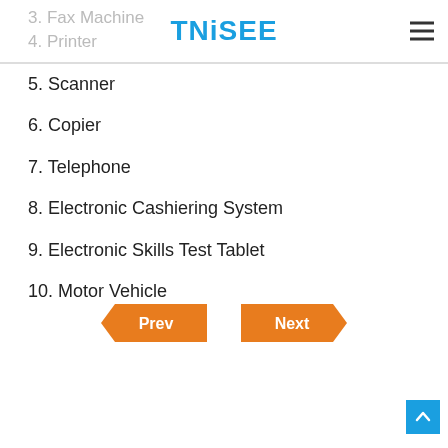TNiSEE
3. Fax Machine
4. Printer
5. Scanner
6. Copier
7. Telephone
8. Electronic Cashiering System
9. Electronic Skills Test Tablet
10. Motor Vehicle
[Figure (other): Prev and Next navigation arrow buttons in orange]